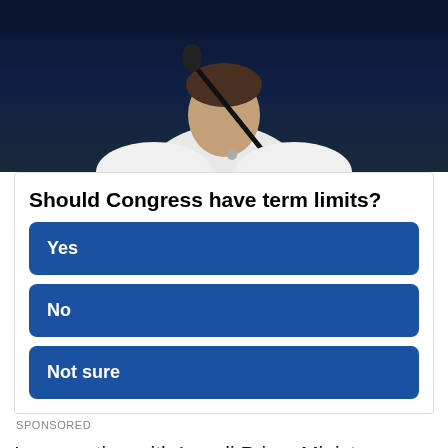[Figure (photo): A woman in a white outfit speaking at a podium with a microphone against a dark background]
Should Congress have term limits?
Yes
No
Not sure
SPONSORED
In a meeting with Israeli Prime Minister Benjamin Netanyahu last week, President Trump reportedly said that unless our allies in the Iran nuclear deal were